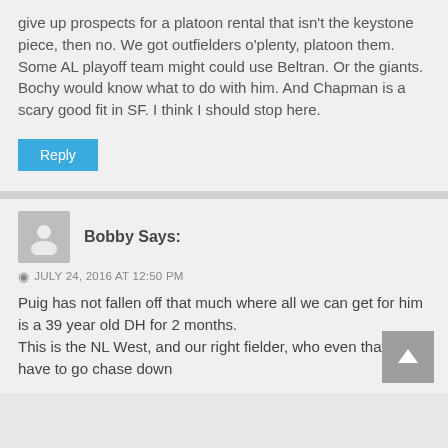give up prospects for a platoon rental that isn't the keystone piece, then no. We got outfielders o'plenty, platoon them. Some AL playoff team might could use Beltran. Or the giants. Bochy would know what to do with him. And Chapman is a scary good fit in SF. I think I should stop here.
Reply
Bobby Says:
JULY 24, 2016 AT 12:50 PM
Puig has not fallen off that much where all we can get for him is a 39 year old DH for 2 months.
This is the NL West, and our right fielder, who even that is, will have to go chase down